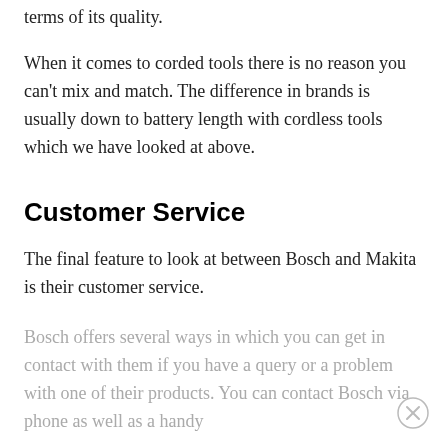terms of its quality.
When it comes to corded tools there is no reason you can't mix and match. The difference in brands is usually down to battery length with cordless tools which we have looked at above.
Customer Service
The final feature to look at between Bosch and Makita is their customer service.
Bosch offers several ways in which you can get in contact with them if you have a query or a problem with one of their products. You can contact Bosch via phone as well as a handy